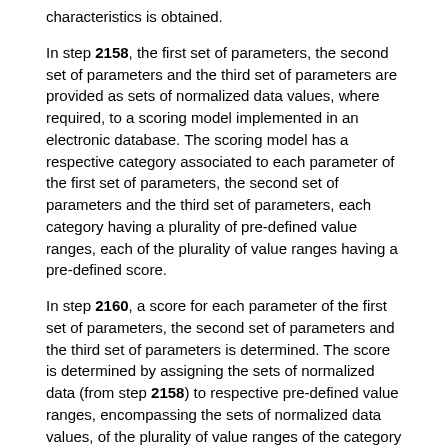characteristics is obtained.
In step 2158, the first set of parameters, the second set of parameters and the third set of parameters are provided as sets of normalized data values, where required, to a scoring model implemented in an electronic database. The scoring model has a respective category associated to each parameter of the first set of parameters, the second set of parameters and the third set of parameters, each category having a plurality of pre-defined value ranges, each of the plurality of value ranges having a pre-defined score.
In step 2160, a score for each parameter of the first set of parameters, the second set of parameters and the third set of parameters is determined. The score is determined by assigning the sets of normalized data (from step 2158) to respective pre-defined value ranges, encompassing the sets of normalized data values, of the plurality of value ranges of the category associated to the respective parameter of the first set of parameters, the second set of parameters and the third set of parameters.
In step 2162, a total score, being a summation of the score